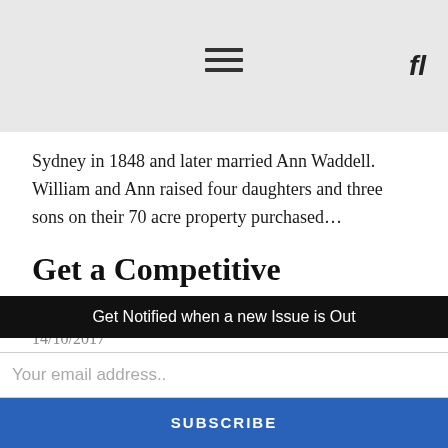≡  fl
Sydney in 1848 and later married Ann Waddell. William and Ann raised four daughters and three sons on their 70 acre property purchased...
Get a Competitive Advantage
14/10/2017
“Change is coming – are you on track?” That is the topic Mayor of The Hills Shire, Dr Michelle Byrne will discuss when she opens The Hills Community Conference on October 18. The annual one-day event aims to help
Get Notified when a new Issue is Out
Your email address..
SUBSCRIBE